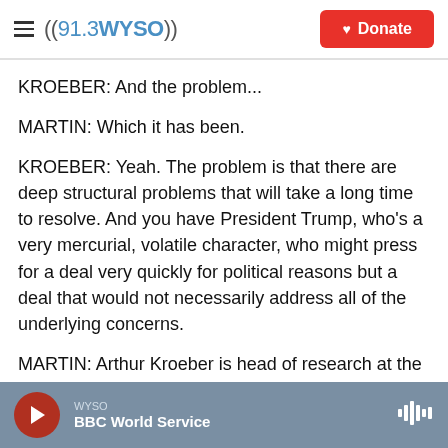((91.3WYSO)) Donate
KROEBER: And the problem...
MARTIN: Which it has been.
KROEBER: Yeah. The problem is that there are deep structural problems that will take a long time to resolve. And you have President Trump, who's a very mercurial, volatile character, who might press for a deal very quickly for political reasons but a deal that would not necessarily address all of the underlying concerns.
MARTIN: Arthur Kroeber is head of research at the
WYSO  BBC World Service